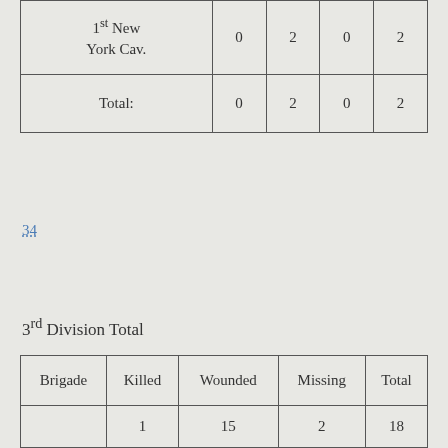|  | Killed | Wounded | Missing | Total |
| --- | --- | --- | --- | --- |
| 1st New York Cav. | 0 | 2 | 0 | 2 |
| Total: | 0 | 2 | 0 | 2 |
34
3rd Division Total
| Brigade | Killed | Wounded | Missing | Total |
| --- | --- | --- | --- | --- |
|  | 1 | 15 | 2 | 18 |